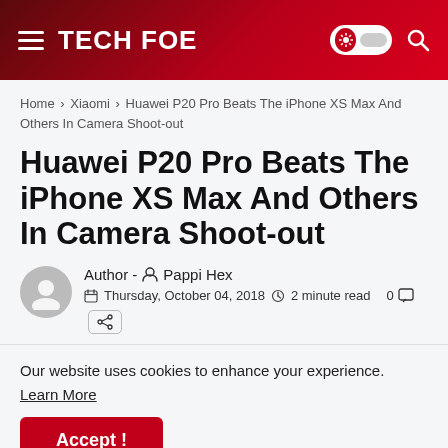TECH FOE
Home › Xiaomi › Huawei P20 Pro Beats The iPhone XS Max And Others In Camera Shoot-out
Huawei P20 Pro Beats The iPhone XS Max And Others In Camera Shoot-out
Author - Pappi Hex
Thursday, October 04, 2018 · 2 minute read · 0 comments
Our website uses cookies to enhance your experience.
Learn More
Accept !